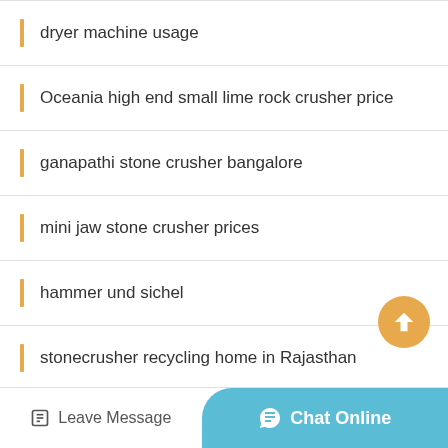dryer machine usage
Oceania high end small lime rock crusher price
ganapathi stone crusher bangalore
mini jaw stone crusher prices
hammer und sichel
stonecrusher recycling home in Rajasthan
high quality medium glass rock crusher for sale in Jakarta
gold mining equipment for sale africa
Leave Message | Chat Online